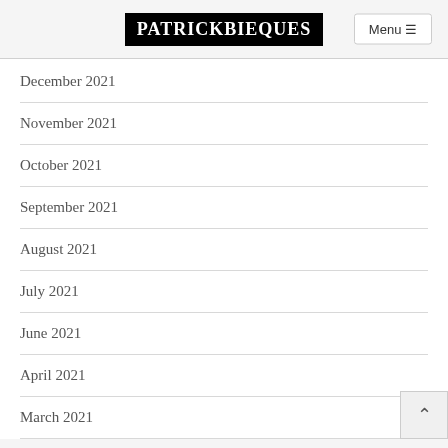PATRICKBIEQUES
December 2021
November 2021
October 2021
September 2021
August 2021
July 2021
June 2021
April 2021
March 2021